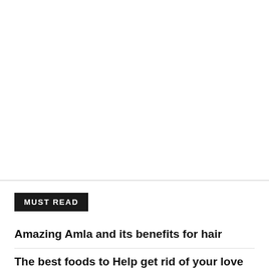MUST READ
Amazing Amla and its benefits for hair
The best foods to Help get rid of your love handles